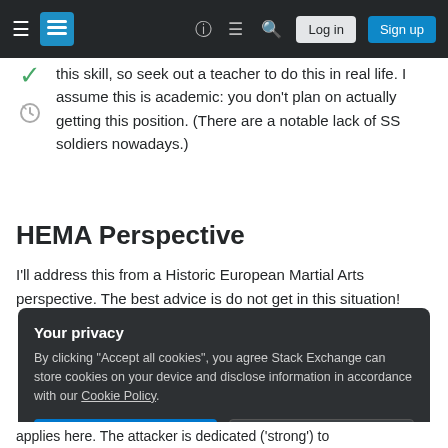Stack Exchange navigation bar with Log in and Sign up buttons
this skill, so seek out a teacher to do this in real life. I assume this is academic: you don't plan on actually getting this position. (There are a notable lack of SS soldiers nowadays.)
HEMA Perspective
I'll address this from a Historic European Martial Arts perspective. The best advice is do not get in this situation!
Your privacy
By clicking "Accept all cookies", you agree Stack Exchange can store cookies on your device and disclose information in accordance with our Cookie Policy.
Accept all cookies   Customize settings
applies here. The attacker is dedicated ('strong') to